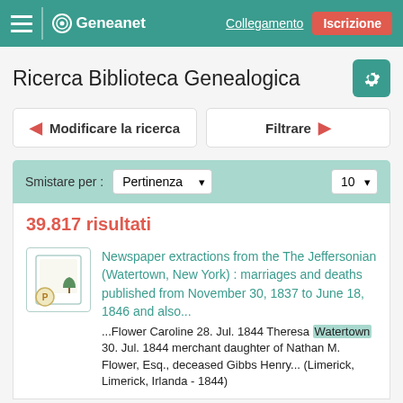Geneanet — Collegamento | Iscrizione
Ricerca Biblioteca Genealogica
Modificare la ricerca | Filtrare
Smistare per : Pertinenza | 10
39.817 risultati
Newspaper extractions from the The Jeffersonian (Watertown, New York) : marriages and deaths published from November 30, 1837 to June 18, 1846 and also... ...Flower Caroline 28. Jul. 1844 Theresa Watertown 30. Jul. 1844 merchant daughter of Nathan M. Flower, Esq., deceased Gibbs Henry... (Limerick, Limerick, Irlanda - 1844)